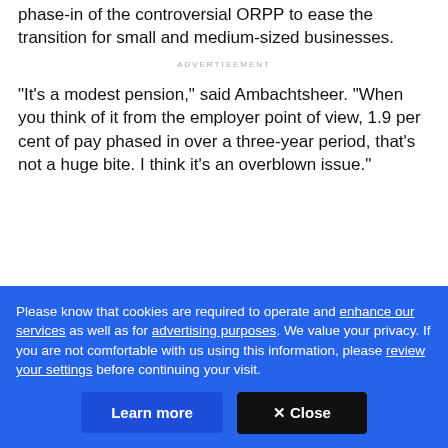phase-in of the controversial ORPP to ease the transition for small and medium-sized businesses.
ADVERTISEMENT
"It's a modest pension," said Ambachtsheer. "When you think of it from the employer point of view, 1.9 per cent of pay phased in over a three-year period, that's not a huge bite. I think it's an overblown issue."
Please know that cookies are required to operate and enhance our services as well as for advertising purposes. We value your privacy. If you are not comfortable with us using this information, please review your settings before continuing your visit.
Learn more
✕ Close